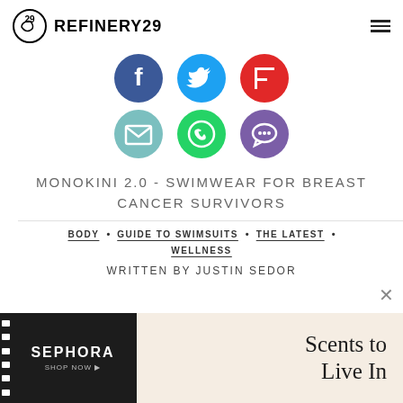REFINERY29
[Figure (infographic): Six circular social share icons: Facebook (dark blue), Twitter (light blue), Flipboard (red), Email (teal), WhatsApp (green), Comments (purple)]
MONOKINI 2.0 - SWIMWEAR FOR BREAST CANCER SURVIVORS
BODY • GUIDE TO SWIMSUITS • THE LATEST • WELLNESS
WRITTEN BY JUSTIN SEDOR
[Figure (infographic): Sephora advertisement banner: black left panel with SEPHORA SHOP NOW text and film strip border, right panel in beige/peach with autumn decorative elements and text 'Scents to Live In']